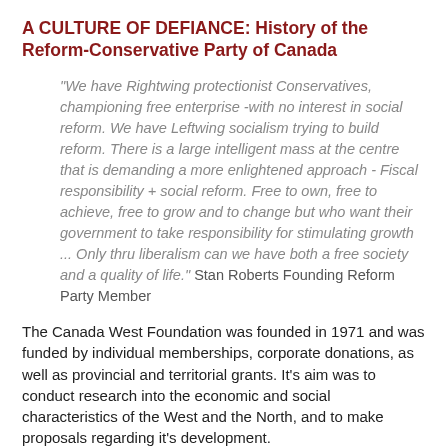A CULTURE OF DEFIANCE: History of the Reform-Conservative Party of Canada
"We have Rightwing protectionist Conservatives, championing free enterprise -with no interest in social reform. We have Leftwing socialism trying to build reform. There is a large intelligent mass at the centre that is demanding a more enlightened approach - Fiscal responsibility + social reform. Free to own, free to achieve, free to grow and to change but who want their government to take responsibility for stimulating growth ... Only thru liberalism can we have both a free society and a quality of life." Stan Roberts Founding Reform Party Member
The Canada West Foundation was founded in 1971 and was funded by individual memberships, corporate donations, as well as provincial and territorial grants. It's aim was to conduct research into the economic and social characteristics of the West and the North, and to make proposals regarding it's development.